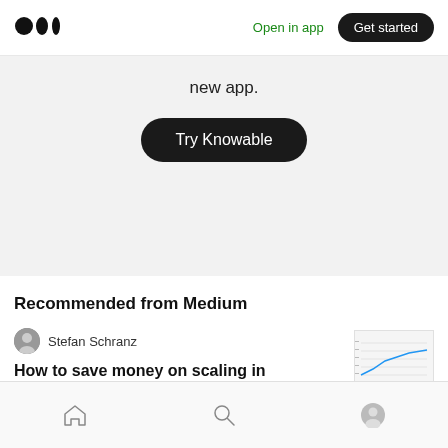Medium logo | Open in app | Get started
new app.
Try Knowable
Recommended from Medium
Stefan Schranz
How to save money on scaling in the cloud
[Figure (screenshot): Small thumbnail image of a line chart showing scaling cost data]
Home | Search | Profile navigation icons